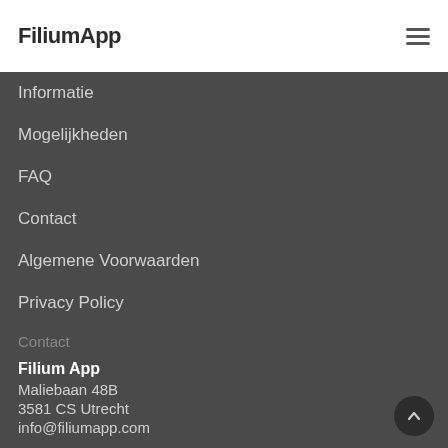FiliumApp
Informatie
Mogelijkheden
FAQ
Contact
Algemene Voorwaarden
Privacy Policy
Contact
Filium App
Maliebaan 48B
3581 CS Utrecht
info@filiumapp.com